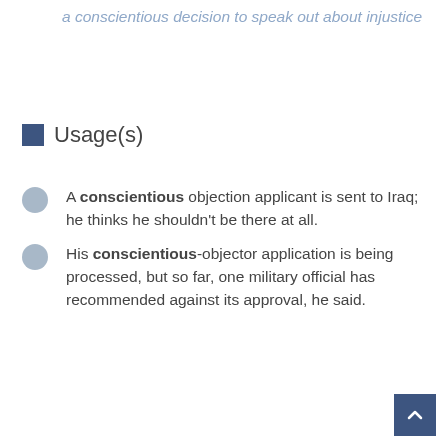a conscientious decision to speak out about injustice
Usage(s)
A conscientious objection applicant is sent to Iraq; he thinks he shouldn't be there at all.
His conscientious-objector application is being processed, but so far, one military official has recommended against its approval, he said.